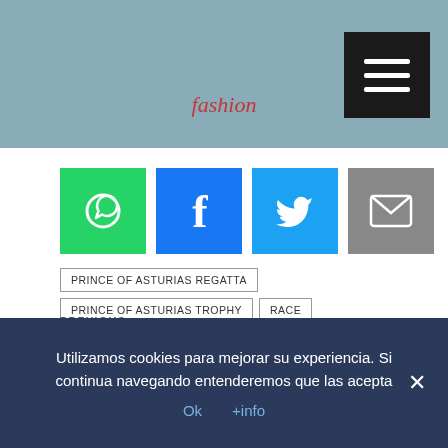[Figure (photo): Sailing boat with people on deck, text 'fashion' visible on hull, dark menu button top right]
[Figure (infographic): Social sharing icons: WhatsApp (green), Facebook (blue), Twitter (light blue), Email (gray)]
PRINCE OF ASTURIAS REGATTA
PRINCE OF ASTURIAS TROPHY
RACE
PREVIOUS
← Inclusive sailing in the Prince of Asturias Trophy by AXA Seguros
NEXT
Utilizamos cookies para mejorar su experiencia. Si continua navegando entenderemos que las acepta
Ok   +info